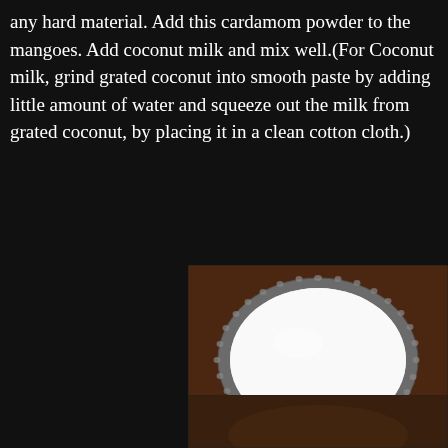any hard material. Add this cardamom powder to the mangoes. Add coconut milk and mix well.(For Coconut milk, grind grated coconut into smooth paste by adding little amount of water and squeeze out the milk from grated coconut, by placing it in a clean cotton cloth.)
[Figure (photo): A glass bowl or plate filled with white coconut milk, viewed from above, on a dark brown textured surface.]
[Figure (photo): Partial view of another food preparation photo at the bottom of the page.]